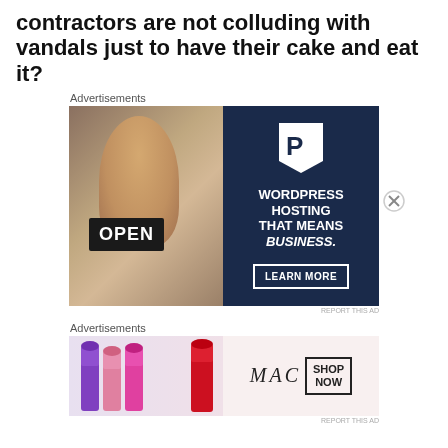contractors are not colluding with vandals just to have their cake and eat it?
Advertisements
[Figure (photo): WordPress Hosting advertisement showing a woman holding an OPEN sign with text: WORDPRESS HOSTING THAT MEANS BUSINESS. LEARN MORE]
REPORT THIS AD
Advertisements
[Figure (photo): MAC cosmetics advertisement showing colourful lipsticks with MAC logo and SHOP NOW button]